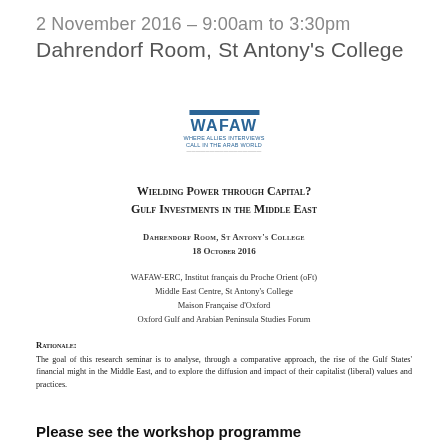2 November 2016 – 9:00am to 3:30pm
Dahrendorf Room, St Antony's College
[Figure (logo): WAFAW logo with blue bar on top, acronym WAFAW in blue, and small subtitle text below]
Wielding Power through Capital?
Gulf Investments in the Middle East
Dahrendorf Room, St Antony's College
18 October 2016
WAFAW-ERC, Institut français du Proche Orient (oFt)
Middle East Centre, St Antony's College
Maison Française d'Oxford
Oxford Gulf and Arabian Peninsula Studies Forum
Rationale:
The goal of this research seminar is to analyse, through a comparative approach, the rise of the Gulf States' financial might in the Middle East, and to explore the diffusion and impact of their capitalist (liberal) values and practices.
Please see the workshop programme